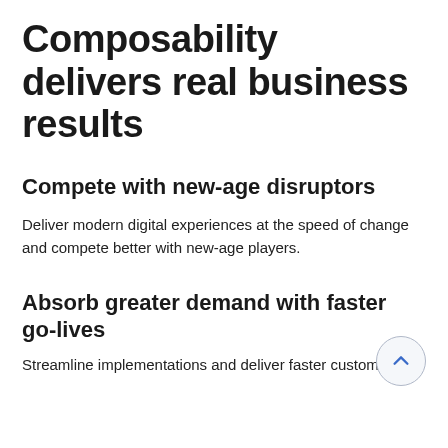Composability delivers real business results
Compete with new-age disruptors
Deliver modern digital experiences at the speed of change and compete better with new-age players.
Absorb greater demand with faster go-lives
Streamline implementations and deliver faster customer